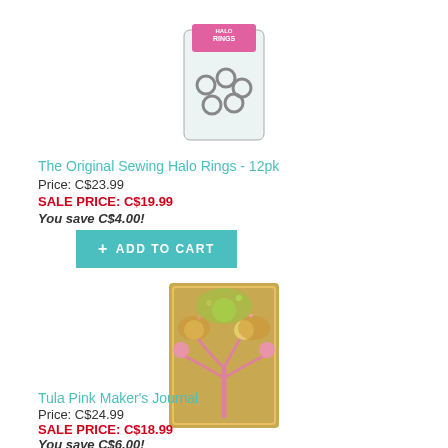[Figure (photo): Product photo of The Original Sewing Halo Rings 12pk in a clear plastic bag with pink label]
The Original Sewing Halo Rings - 12pk
Price: C$23.99
SALE PRICE: C$19.99
You save C$4.00!
+ ADD TO CART
[Figure (photo): Product photo of Tula Pink Maker's Journal with colorful decorative cover featuring a tree design]
Tula Pink Maker's Journal
Price: C$24.99
SALE PRICE: C$18.99
You save C$6.00!